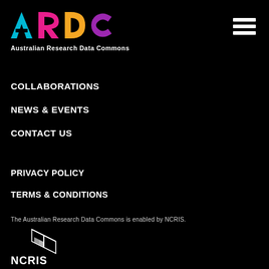[Figure (logo): ARDC logo with coloured letters A (cyan), R (magenta/pink), D (orange/yellow), C (purple) on black background]
Australian Research Data Commons
[Figure (other): Hamburger menu icon - three white horizontal bars]
COLLABORATIONS
NEWS & EVENTS
CONTACT US
PRIVACY POLICY
TERMS & CONDITIONS
The Australian Research Data Commons is enabled by NCRIS.
[Figure (logo): NCRIS logo - white cube icon with NCRIS text on black background]